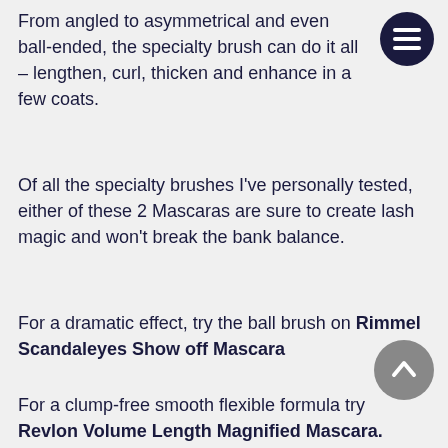From angled to asymmetrical and even ball-ended, the specialty brush can do it all – lengthen, curl, thicken and enhance in a few coats.
Of all the specialty brushes I've personally tested, either of these 2 Mascaras are sure to create lash magic and won't break the bank balance.
For a dramatic effect, try the ball brush on Rimmel Scandaleyes Show off Mascara
For a clump-free smooth flexible formula try Revlon Volume Length Magnified Mascara.
High shine black fibre formula provides amplified volume and length. The magnifying square lash brush is designed to anchor the formula to lashes for intense volume and length.